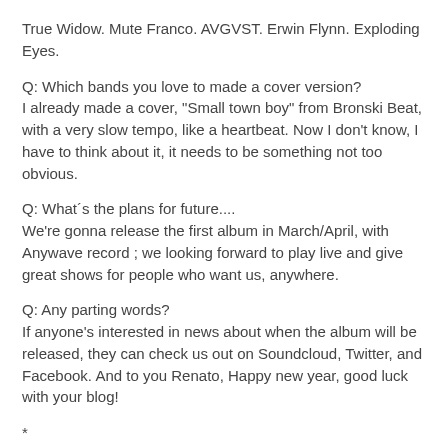True Widow. Mute Franco. AVGVST. Erwin Flynn. Exploding Eyes.
Q: Which bands you love to made a cover version?
I already made a cover, "Small town boy" from Bronski Beat, with a very slow tempo, like a heartbeat. Now I don't know, I have to think about it, it needs to be something not too obvious.
Q: What´s the plans for future....
We're gonna release the first album in March/April, with Anywave record ; we looking forward to play live and give great shows for people who want us, anywhere.
Q: Any parting words?
If anyone's interested in news about when the album will be released, they can check us out on Soundcloud, Twitter, and Facebook. And to you Renato, Happy new year, good luck with your blog!
*
*
*